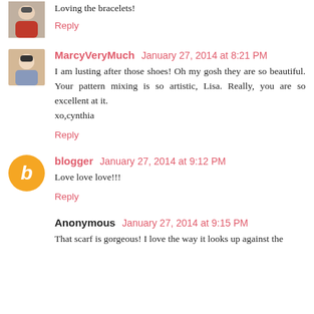Loving the bracelets!
Reply
MarcyVeryMuch  January 27, 2014 at 8:21 PM
I am lusting after those shoes! Oh my gosh they are so beautiful. Your pattern mixing is so artistic, Lisa. Really, you are so excellent at it.
xo,cynthia
Reply
blogger  January 27, 2014 at 9:12 PM
Love love love!!!
Reply
Anonymous  January 27, 2014 at 9:15 PM
That scarf is gorgeous! I love the way it looks up against the